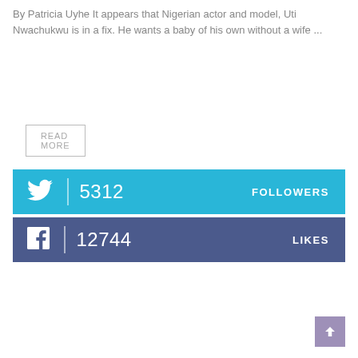By Patricia Uyhe It appears that Nigerian actor and model, Uti Nwachukwu is in a fix. He wants a baby of his own without a wife ...
READ MORE
[Figure (infographic): Twitter social media bar showing 5312 followers in a light blue (#29b6d8) horizontal band with Twitter bird icon, count 5312, and label FOLLOWERS]
[Figure (infographic): Facebook social media bar showing 12744 likes in a dark blue-purple (#4b5a8c) horizontal band with Facebook f icon, count 12744, and label LIKES]